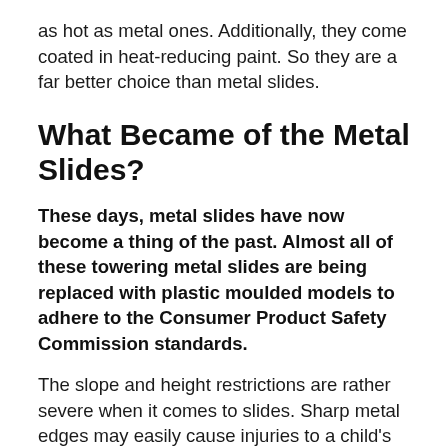as hot as metal ones. Additionally, they come coated in heat-reducing paint. So they are a far better choice than metal slides.
What Became of the Metal Slides?
These days, metal slides have now become a thing of the past. Almost all of these towering metal slides are being replaced with plastic moulded models to adhere to the Consumer Product Safety Commission standards.
The slope and height restrictions are rather severe when it comes to slides. Sharp metal edges may easily cause injuries to a child's